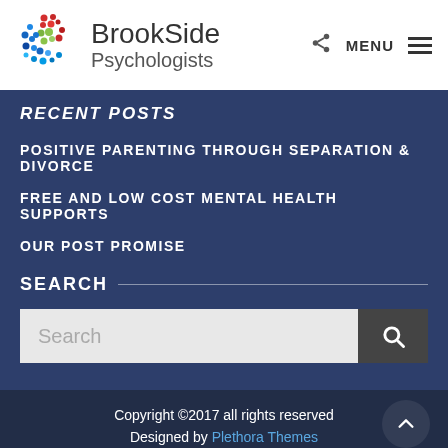[Figure (logo): BrookSide Psychologists logo with colorful dot pattern and text]
RECENT POSTS
POSITIVE PARENTING THROUGH SEPARATION & DIVORCE
FREE AND LOW COST MENTAL HEALTH SUPPORTS
OUR POST PROMISE
SEARCH
Copyright ©2017 all rights reserved
Designed by Plethora Themes